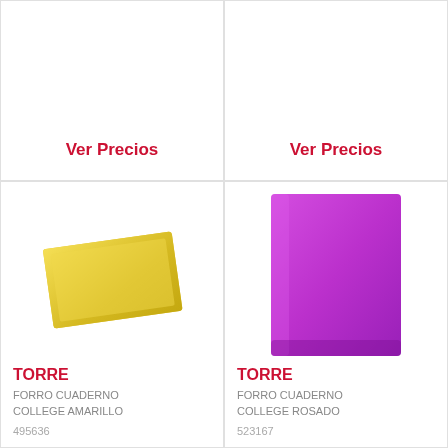Ver Precios
Ver Precios
[Figure (photo): Yellow notebook cover (forro cuaderno college amarillo) - a flat yellow folder/cover lying at an angle]
TORRE
FORRO CUADERNO COLLEGE AMARILLO
495636
[Figure (photo): Purple/magenta notebook cover (forro cuaderno college rosado) - a solid bright purple rectangular folder/cover]
TORRE
FORRO CUADERNO COLLEGE ROSADO
523167